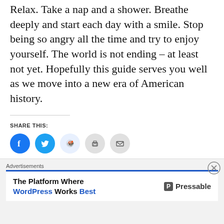Relax. Take a nap and a shower. Breathe deeply and start each day with a smile. Stop being so angry all the time and try to enjoy yourself. The world is not ending – at least not yet. Hopefully this guide serves you well as we move into a new era of American history.
SHARE THIS:
[Figure (infographic): Row of five circular social share buttons: Facebook (blue), Twitter (blue), Reddit (light blue), Print (gray), Email (gray)]
Advertisements
[Figure (screenshot): Advertisement banner: 'The Platform Where WordPress Works Best' with Pressable logo]